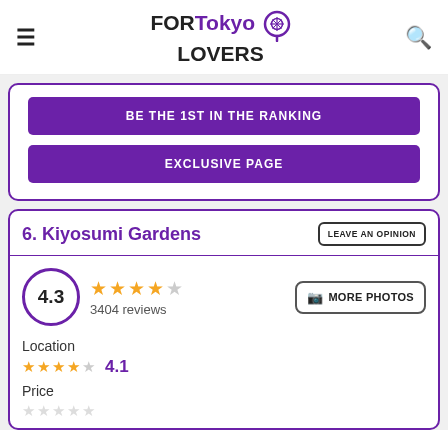FOR Tokyo LOVERS
BE THE 1ST IN THE RANKING
EXCLUSIVE PAGE
6. Kiyosumi Gardens
LEAVE AN OPINION
4.3 — 3404 reviews — MORE PHOTOS
Location 4.1
Price